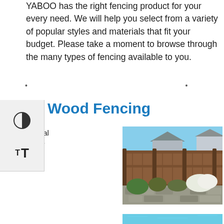YABOO has the right fencing product for your every need. We will help you select from a variety of popular styles and materials that fit your budget. Please take a moment to browse through the many types of fencing available to you.
· · ·
Wood Fencing
natural cedar wood
[Figure (photo): Photo of a wooden privacy fence with cedar boards, backed by a two-story house. In front of the fence is a landscaped garden with stone retaining walls, flowering shrubs, and a swimming pool at the bottom.]